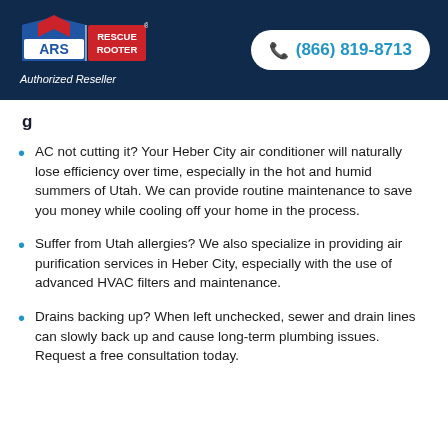[Figure (logo): ARS Rescue Rooter logo with house and arrow graphic, red white and blue colors, on dark navy background]
(866) 819-8713
Authorized Reseller
AC not cutting it? Your Heber City air conditioner will naturally lose efficiency over time, especially in the hot and humid summers of Utah. We can provide routine maintenance to save you money while cooling off your home in the process.
Suffer from Utah allergies? We also specialize in providing air purification services in Heber City, especially with the use of advanced HVAC filters and maintenance.
Drains backing up? When left unchecked, sewer and drain lines can slowly back up and cause long-term plumbing issues. Request a free consultation today.